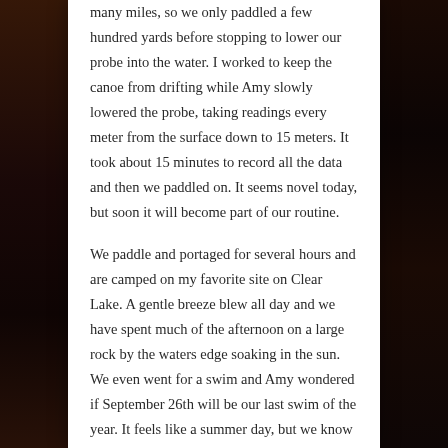many miles, so we only paddled a few hundred yards before stopping to lower our probe into the water. I worked to keep the canoe from drifting while Amy slowly lowered the probe, taking readings every meter from the surface down to 15 meters. It took about 15 minutes to record all the data and then we paddled on. It seems novel today, but soon it will become part of our routine.
We paddle and portaged for several hours and are camped on my favorite site on Clear Lake. A gentle breeze blew all day and we have spent much of the afternoon on a large rock by the waters edge soaking in the sun. We even went for a swim and Amy wondered if September 26th will be our last swim of the year. It feels like a summer day, but we know this weather will not last long, so we better enjoy these fleeting warm days while we can. We lingered on the